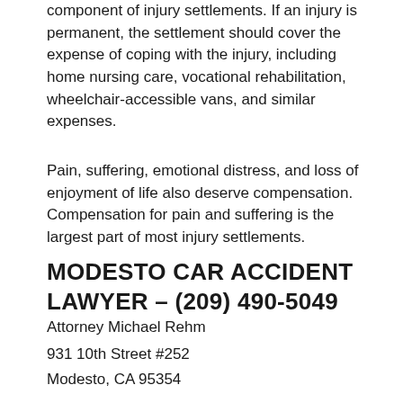component of injury settlements. If an injury is permanent, the settlement should cover the expense of coping with the injury, including home nursing care, vocational rehabilitation, wheelchair-accessible vans, and similar expenses.
Pain, suffering, emotional distress, and loss of enjoyment of life also deserve compensation. Compensation for pain and suffering is the largest part of most injury settlements.
MODESTO CAR ACCIDENT LAWYER  – (209) 490-5049
Attorney Michael Rehm
931 10th Street #252
Modesto, CA 95354
Stanislaus County Accident Resources:
Stanislaus County Resources